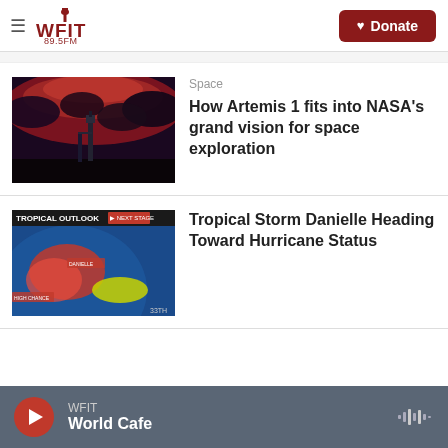WFIT 89.5FM — Donate
[Figure (screenshot): Artemis 1 rocket on launchpad at dusk/night with red sky and clouds]
Space
How Artemis 1 fits into NASA's grand vision for space exploration
[Figure (screenshot): Tropical Outlook map showing Tropical Storm Danielle and storm tracks]
Tropical Storm Danielle Heading Toward Hurricane Status
WFIT — World Cafe